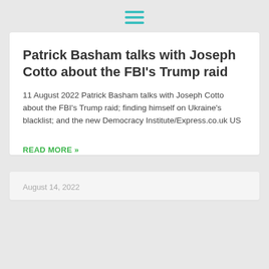☰ (hamburger menu icon)
Patrick Basham talks with Joseph Cotto about the FBI's Trump raid
11 August 2022 Patrick Basham talks with Joseph Cotto about the FBI's Trump raid; finding himself on Ukraine's blacklist; and the new Democracy Institute/Express.co.uk US
READ MORE »
August 14, 2022